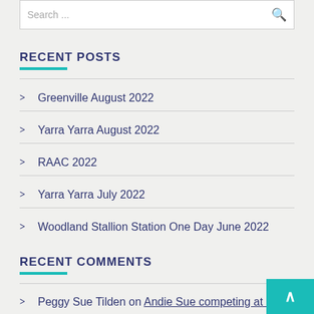Search ...
RECENT POSTS
Greenville August 2022
Yarra Yarra August 2022
RAAC 2022
Yarra Yarra July 2022
Woodland Stallion Station One Day June 2022
RECENT COMMENTS
Peggy Sue Tilden on Andie Sue competing at Para